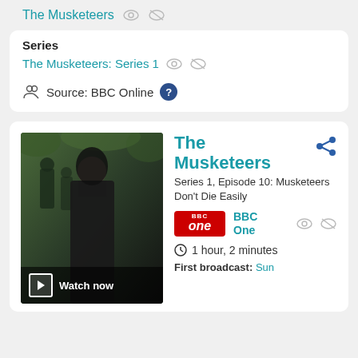The Musketeers
Series
The Musketeers: Series 1
Source: BBC Online
[Figure (screenshot): Card showing The Musketeers TV show with thumbnail image of a woman in black, Watch now overlay, title, episode info, BBC One badge, duration and first broadcast info]
The Musketeers
Series 1, Episode 10: Musketeers Don't Die Easily
BBC One
1 hour, 2 minutes
First broadcast: Sun